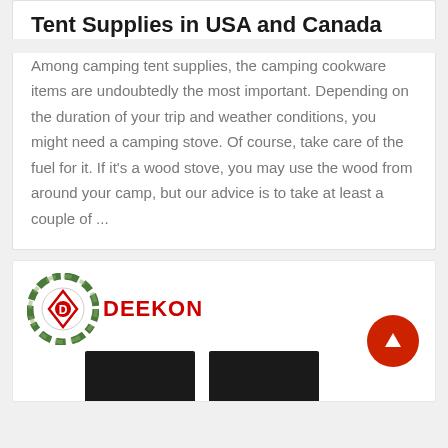Tent Supplies in USA and Canada
Among camping tent supplies, the camping cookware items are undoubtedly the most important. Depending on the duration of your trip and weather conditions, you might need a camping stove. Of course, take care of the fuel for it. If it's a wood stove, you may use the wood from around your camp, but our advice is to take at least a couple of ...
[Figure (logo): DEEKON logo with camouflage circular emblem and red bold DEEKON text]
[Figure (photo): Two black product images at the bottom]